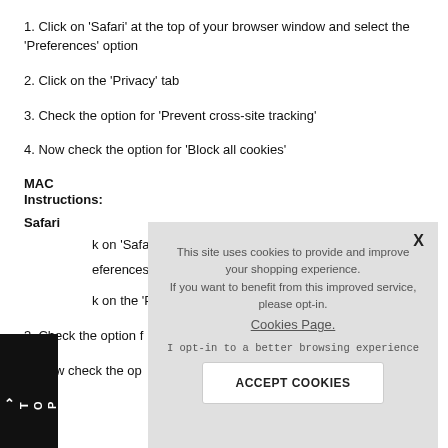1. Click on 'Safari' at the top of your browser window and select the 'Preferences' option
2. Click on the 'Privacy' tab
3. Check the option for 'Prevent cross-site tracking'
4. Now check the option for 'Block all cookies'
MAC
Instructions:
Safari
k on 'Safari' a...
eferences' opti...
k on the 'Priva...
3. Check the option f...
4. Now check the op...
[Figure (screenshot): Cookie consent popup overlay with text: 'This site uses cookies to provide and improve your shopping experience. If you want to benefit from this improved service, please opt-in. Cookies Page. I opt-in to a better browsing experience' and an ACCEPT COOKIES button. Has an X close button in the top right.]
[Figure (other): Black TOP button on left side with arrow pointing up]